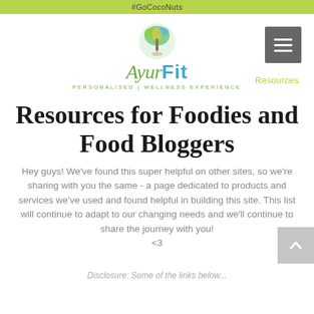#GoCocoNuts
[Figure (logo): AyurFit logo with circular palm tree illustration and text 'AyurFit - Personalised Wellness Experience'. Menu hamburger button on the right. Resources link below.]
Resources for Foodies and Food Bloggers
Hey guys! We've found this super helpful on other sites, so we're sharing with you the same - a page dedicated to products and services we've used and found helpful in building this site. This list will continue to adapt to our changing needs and we'll continue to share the journey with you! <3
Disclosure: Some of the links below...